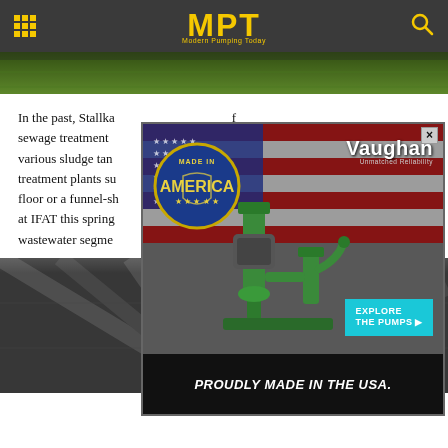MPT — Modern Pumping Today
[Figure (photo): Crop field / agricultural land photo banner]
In the past, Stallka... sewage treatment ... various sludge tan... treatment plants su... floor or a funnel-sh... at IFAT this spring... wastewater segme...
[Figure (illustration): Vaughan pumps advertisement overlay — 'Made in America' badge with US flag background, green industrial pumps, Explore The Pumps CTA button, Proudly Made in the USA footer text]
[Figure (photo): Dark metallic radial/fan structure — industrial tank interior photo]